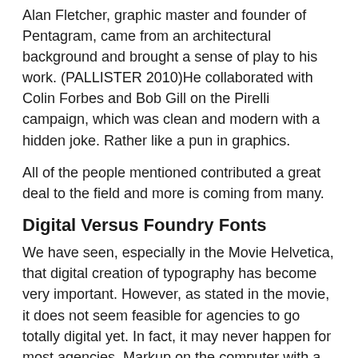Alan Fletcher, graphic master and founder of Pentagram, came from an architectural background and brought a sense of play to his work. (PALLISTER 2010)He collaborated with Colin Forbes and Bob Gill on the Pirelli campaign, which was clean and modern with a hidden joke. Rather like a pun in graphics.
All of the people mentioned contributed a great deal to the field and more is coming from many.
Digital Versus Foundry Fonts
We have seen, especially in the Movie Helvetica, that digital creation of typography has become very important. However, as stated in the movie, it does not seem feasible for agencies to go totally digital yet. In fact, it may never happen for most agencies. Markup on the computer with a really big screen is unbelievably versatile and fast, Many different things can be tried in a very short time. The microspacing